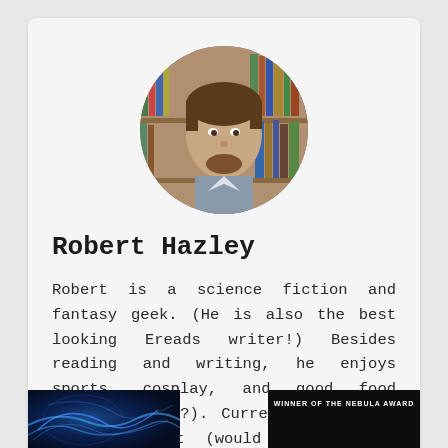[Figure (photo): Circular profile photo of a young man with short brown hair and a beard, standing in front of a bookshelf]
Robert Hazley
Robert is a science fiction and fantasy geek. (He is also the best looking Ereads writer!) Besides reading and writing, he enjoys sports, cosplay, and good food (don't we all?). Currently works as an accountant (would you believe that?)
[Figure (photo): Book cover with blue abstract imagery]
[Figure (photo): Book cover with dark background and text 'WINNER OF THE NEBULA AWARD']